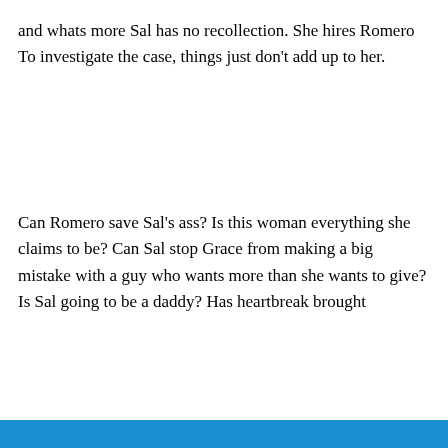and whats more Sal has no recollection. She hires Romero To investigate the case, things just don't add up to her.
Can Romero save Sal's ass? Is this woman everything she claims to be? Can Sal stop Grace from making a big mistake with a guy who wants more than she wants to give? Is Sal going to be a daddy? Has heartbreak brought
Privacy & Cookies: This site uses cookies. By continuing to use this website, you agree to their use.
To find out more, including how to control cookies, see here: Cookie Policy